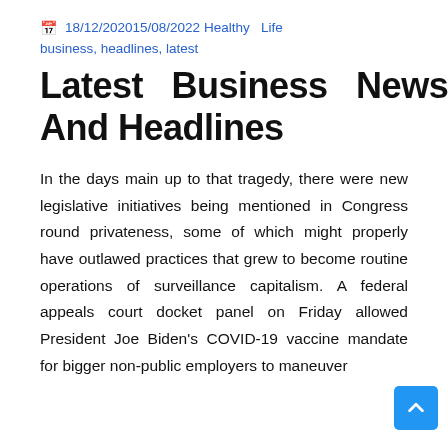18/12/202015/08/2022 Healthy Life business, headlines, latest
Latest Business News And Headlines
In the days main up to that tragedy, there were new legislative initiatives being mentioned in Congress round privateness, some of which might properly have outlawed practices that grew to become routine operations of surveillance capitalism. A federal appeals court docket panel on Friday allowed President Joe Biden's COVID-19 vaccine mandate for bigger non-public employers to maneuver